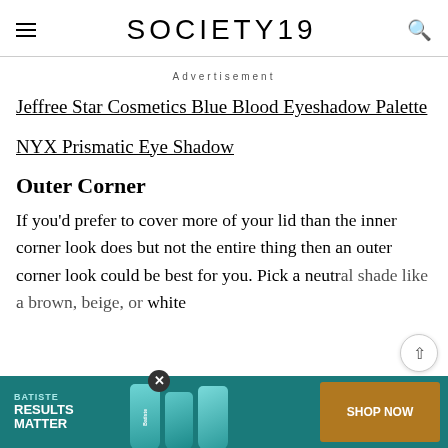SOCIETY19
Advertisement
Jeffree Star Cosmetics Blue Blood Eyeshadow Palette
NYX Prismatic Eye Shadow
Outer Corner
If you'd prefer to cover more of your lid than the inner corner look does but not the entire thing then an outer corner look could be best for you. Pick a neutral shade like a brown, beige, or white
[Figure (photo): Batiste hair care advertisement banner with teal background, product bottles, and orange SHOP NOW button]